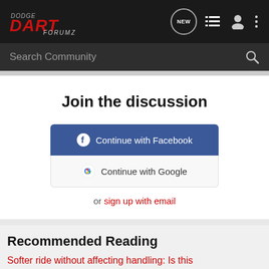[Figure (logo): Dodge Dart Forumz logo in red and white on dark nav bar]
Search Community
Join the discussion
Continue with Facebook
Continue with Google
or sign up with email
Recommended Reading
Softer ride without affecting handling: Is this